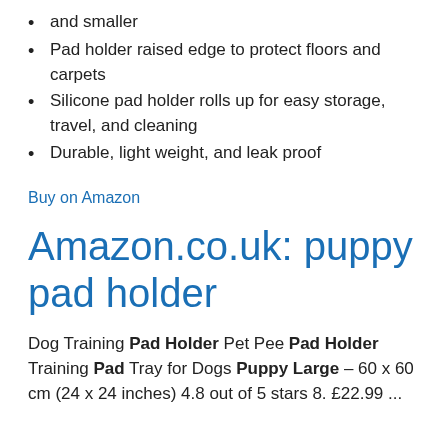and smaller
Pad holder raised edge to protect floors and carpets
Silicone pad holder rolls up for easy storage, travel, and cleaning
Durable, light weight, and leak proof
Buy on Amazon
Amazon.co.uk: puppy pad holder
Dog Training Pad Holder Pet Pee Pad Holder Training Pad Tray for Dogs Puppy Large – 60 x 60 cm (24 x 24 inches) 4.8 out of 5 stars 8. £22.99 ...